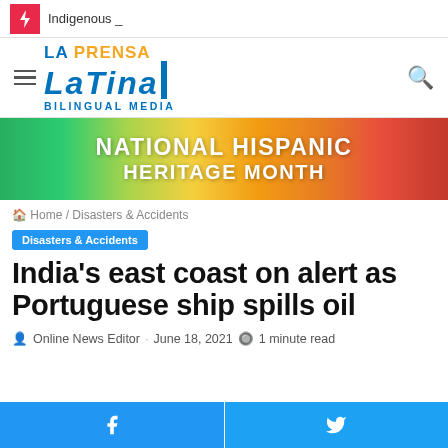Indigenous _
[Figure (logo): La Prensa Latina Bilingual Media logo]
[Figure (illustration): National Hispanic Heritage Month colorful banner]
Home / Disasters & Accidents
Disasters & Accidents
India's east coast on alert as Portuguese ship spills oil
Online News Editor · June 18, 2021 · 1 minute read
Facebook share | Twitter share